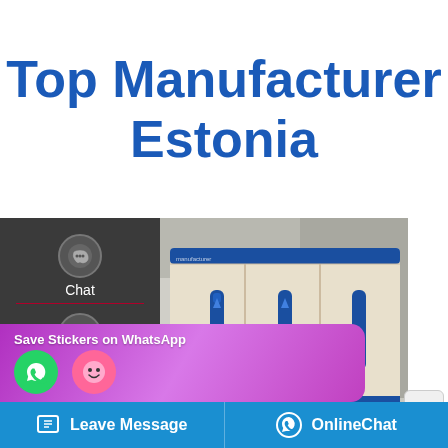Top Manufacturer Estonia
[Figure (photo): Large industrial beige and blue cabinet/server unit in an industrial or data center setting, with blue vertical handles and blue accent stripe at the bottom.]
Chat
Email
Contact
Save Stickers on WhatsApp
Leave Message
OnlineChat